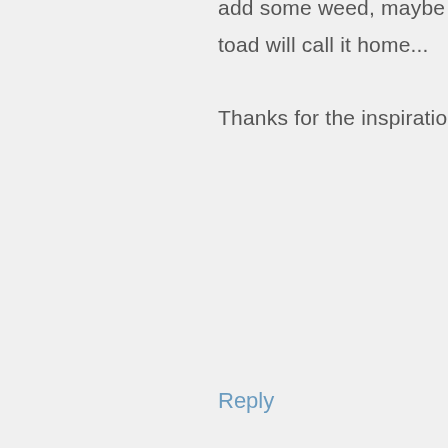add some weed, maybe a plant and fingers crossed some passing toad will call it home...
Thanks for the inspiration! Love your blog!
Reply
Alexandra Campbell says:
May 20, 2016 at 7:42 am
Your underbed storage box idea sounds great. Hope it goes well, and thank you for commenting.
Reply